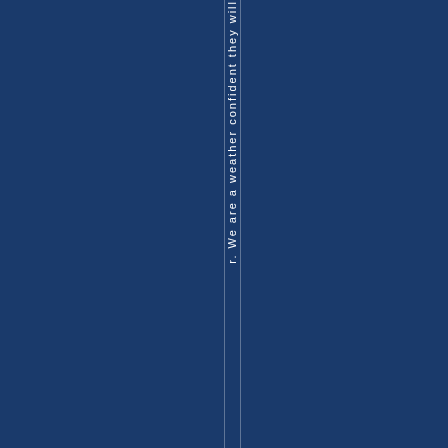r. We are a weather confident they will